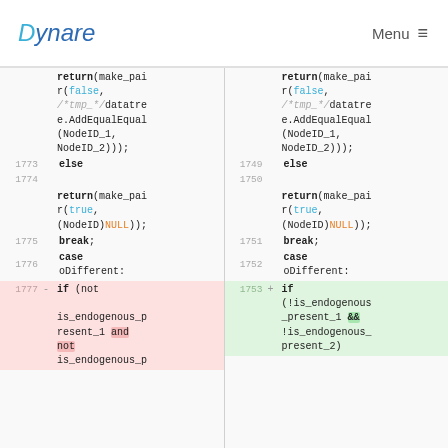Dynare | Menu
Code diff view showing changes between two versions of source code. Left pane shows old version (lines 1773-1777+), right pane shows new version (lines 1749-1753+). The diff includes return statements with make_pair(false, /*tmp_*/datatree.AddEqualEqual(NodeID_1, NodeID_2))), else clauses, return(make_pair(true, (NodeID)NULL)), break, case oDifferent, and a changed if condition: old version uses 'if (not !is_endogenous_present_1 and not is_endogenous_p...' vs new version 'if (!is_endogenous_present_1 && !is_endogenous_present_2)'.